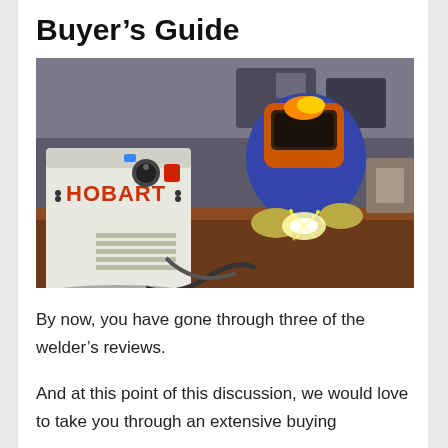Buyer's Guide
[Figure (photo): A Hobart welding machine in the foreground with a welder wearing a protective orange helmet and blue jumpsuit welding metal on a workbench in the background, sparks visible at the weld point, industrial workshop setting.]
By now, you have gone through three of the welder's reviews.
And at this point of this discussion, we would love to take you through an extensive buying